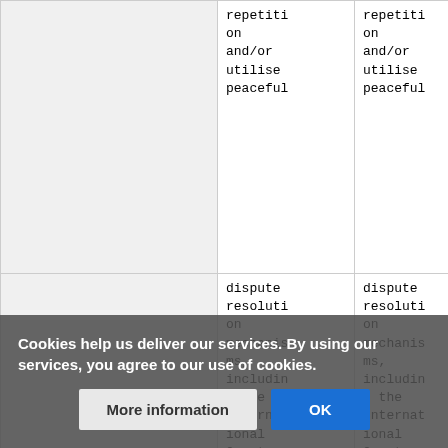|  | repetition and/or utilise peaceful | repetition and/or utilise peaceful |
|  | dispute resolution mechanisms, including the International Court of Justice where available. State A | dispute resolution mechanisms, including the International Court of Justice where available. State A |
Cookies help us deliver our services. By using our services, you agree to our use of cookies. [More information] [OK]